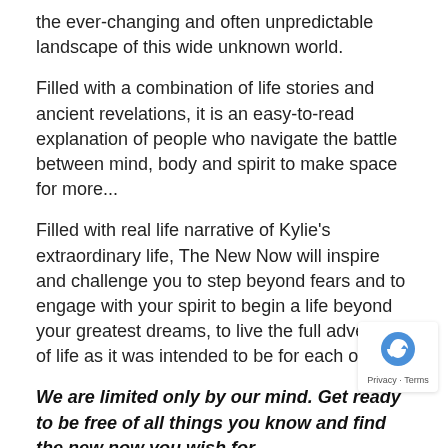the ever-changing and often unpredictable landscape of this wide unknown world.
Filled with a combination of life stories and ancient revelations, it is an easy-to-read explanation of people who navigate the battle between mind, body and spirit to make space for more...
Filled with real life narrative of Kylie's extraordinary life, The New Now will inspire and challenge you to step beyond fears and to engage with your spirit to begin a life beyond your greatest dreams, to live the full adventure of life as it was intended to be for each of us...
We are limited only by our mind. Get ready to be free of all things you know and find the new now you wish for...
“A marvellous work of insight and truth and bravery from a